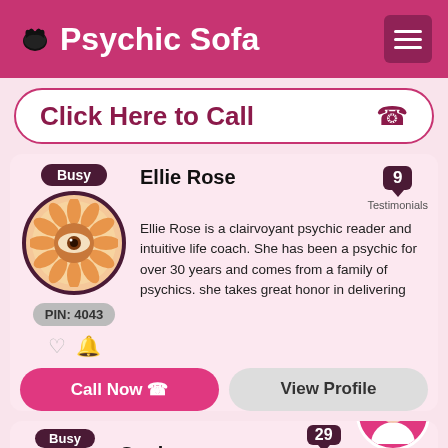Psychic Sofa
Click Here to Call
Busy
Ellie Rose
9 Testimonials
PIN: 4043
Ellie Rose is a clairvoyant psychic reader and intuitive life coach. She has been a psychic for over 30 years and comes from a family of psychics. she takes great honor in delivering
Call Now
View Profile
Busy
Sonia
29 Testimonials